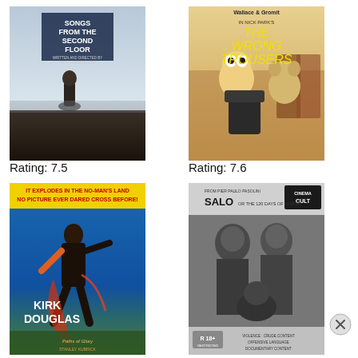[Figure (photo): Movie poster for 'Songs from the Second Floor' by Roy Andersson - dark figure standing in a misty landscape]
Rating: 7.5
[Figure (photo): Movie poster for 'The Wrong Trousers' by Nick Park / Wallace and Gromit animated characters]
Rating: 7.6
[Figure (photo): Movie poster featuring Kirk Douglas - colorful action poster with text 'It explodes in the no-man's land']
[Figure (photo): Movie poster for 'Salo or the 120 Days of Sodom' - Cinema Cult black and white cover]